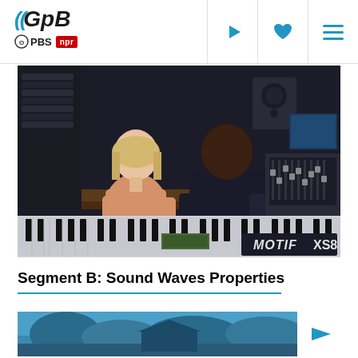GPB | PBS | NPR
[Figure (photo): Two people (a woman in a pink sweater and a man in a dark sweater) sitting in a music recording studio in front of a Yamaha MOTIF XS8 keyboard synthesizer, with studio mixing equipment and monitors visible in background.]
Segment B: Sound Waves Properties
[Figure (screenshot): Partial video thumbnail showing a blue-tinted outdoor scene, with a play button on the right side.]